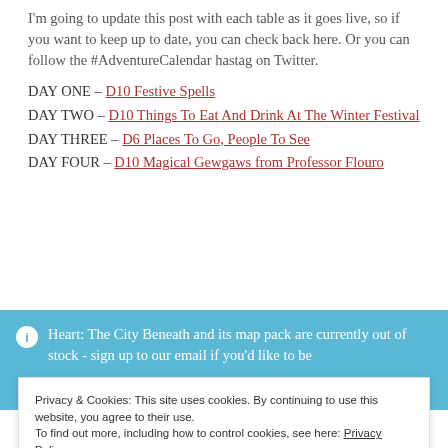I'm going to update this post with each table as it goes live, so if you want to keep up to date, you can check back here. Or you can follow the #AdventureCalendar hastag on Twitter.
DAY ONE – D10 Festive Spells
DAY TWO – D10 Things To Eat And Drink At The Winter Festival
DAY THREE – D6 Places To Go, People To See
DAY FOUR – D10 Magical Gewgaws from Professor Flouro
Heart: The City Beneath and its map pack are currently out of stock - sign up to our email if you'd like to be
Privacy & Cookies: This site uses cookies. By continuing to use this website, you agree to their use. To find out more, including how to control cookies, see here: Privacy Policy
Close and accept